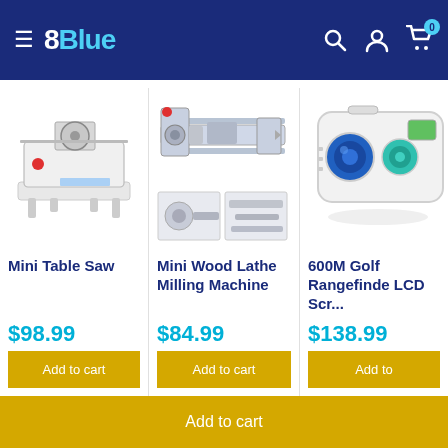8Blue — navigation header with hamburger menu, search, account, and cart icons
[Figure (photo): Mini Table Saw product image — small white tabletop saw machine]
Mini Table Saw
$98.99
Add to cart
[Figure (photo): Mini Wood Lathe Milling Machine product image — metal lathe with drill components]
Mini Wood Lathe Milling Machine
$84.99
Add to cart
[Figure (photo): 600M Golf Rangefinder LCD Scr... product image — white rangefinder device with blue lens]
600M Golf Rangefinde LCD Scr...
$138.99
Add to
Add to cart